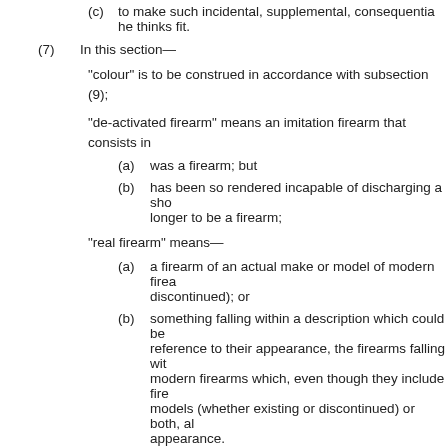(c) to make such incidental, supplemental, consequential he thinks fit.
(7) In this section—
"colour" is to be construed in accordance with subsection (9);
"de-activated firearm" means an imitation firearm that consists in
(a) was a firearm; but
(b) has been so rendered incapable of discharging a sho longer to be a firearm;
"real firearm" means—
(a) a firearm of an actual make or model of modern firea discontinued); or
(b) something falling within a description which could be reference to their appearance, the firearms falling wit modern firearms which, even though they include fire models (whether existing or discontinued) or both, all appearance.
(8) In subsection (7) "modern firearm" means any firearm other than and mechanism of a sort first dating from before the year 1870.
(9) References in this section, in relation to an imitation firearm or a material.